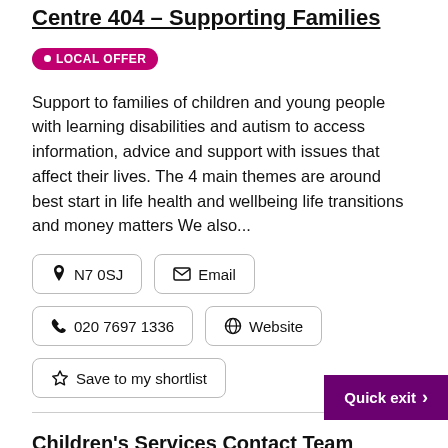Centre 404 – Supporting Families
LOCAL OFFER
Support to families of children and young people with learning disabilities and autism to access information, advice and support with issues that affect their lives. The 4 main themes are around best start in life health and wellbeing life transitions and money matters We also...
N7 0SJ
Email
020 7697 1336
Website
Save to my shortlist
Children's Services Contact Team (CSCT) - Children's Social C...
Quick exit